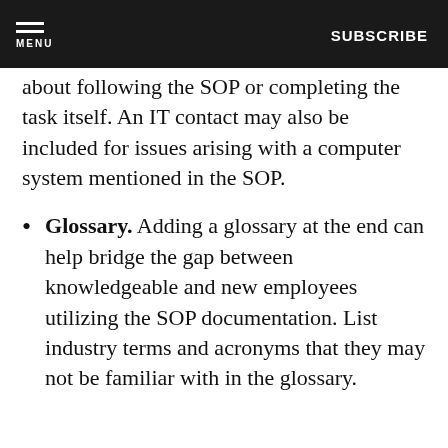MENU | SUBSCRIBE
about following the SOP or completing the task itself. An IT contact may also be included for issues arising with a computer system mentioned in the SOP.
Glossary. Adding a glossary at the end can help bridge the gap between knowledgeable and new employees utilizing the SOP documentation. List industry terms and acronyms that they may not be familiar with in the glossary.